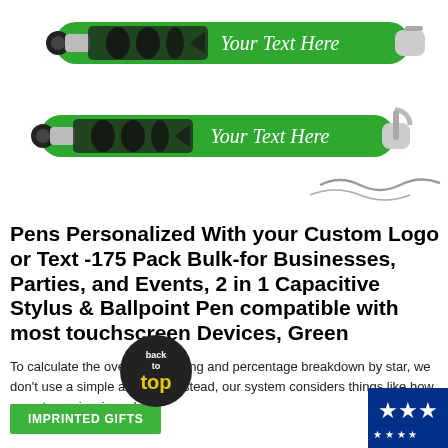[Figure (photo): Two green personalized stylus ballpoint pens with 'Your Text Here' printed on them in white italic text, shown on white background]
Pens Personalized With your Custom Logo or Text -175 Pack Bulk-for Businesses, Parties, and Events, 2 in 1 Capacitive Stylus & Ballpoint Pen compatible with most touchscreen Devices, Green
To calculate the overall star rating and percentage breakdown by star, we don't use a simple average. Instead, our system considers things like how recent a review is and if…
CONTINUE READING »
IMPRINTED GIFTS